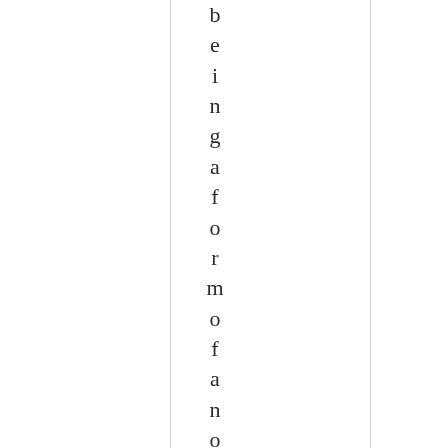being a form of an old French ve